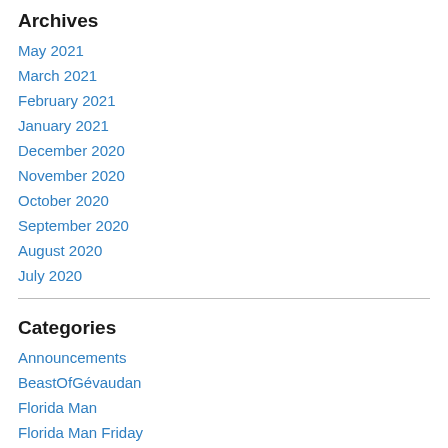Archives
May 2021
March 2021
February 2021
January 2021
December 2020
November 2020
October 2020
September 2020
August 2020
July 2020
Categories
Announcements
BeastOfGévaudan
Florida Man
Florida Man Friday
Memoir